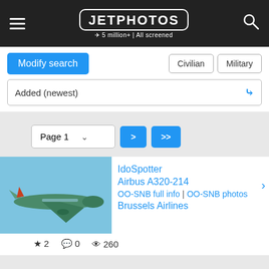JETPHOTOS — 5 million+ | All screened
Modify search
Civilian | Military
Added (newest)
Page 1
IdoSpotter
Airbus A320-214
OO-SNB full info | OO-SNB photos >
Brussels Airlines
★ 2   💬 0   👁 260